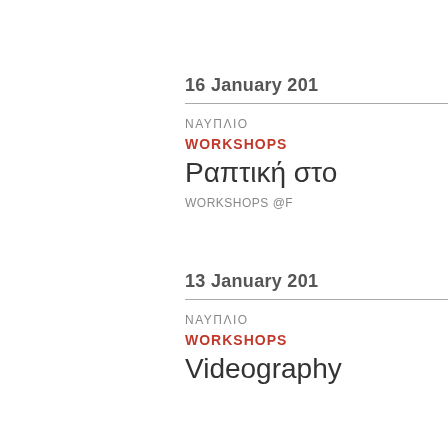16 January 201
ΝΑΥΠΛΙΟ
WORKSHOPS
Ραπτική στο
WORKSHOPS @F
13 January 201
ΝΑΥΠΛΙΟ
WORKSHOPS
Videography